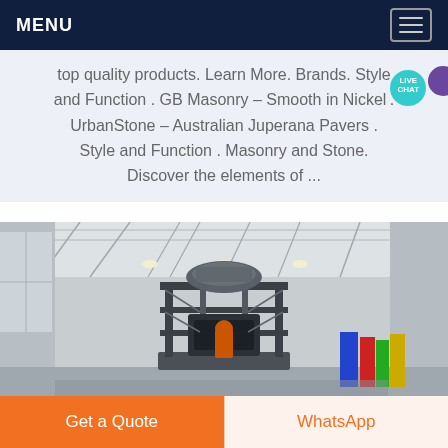MENU
top quality products. Learn More. Brands. Style and Function . GB Masonry – Smooth in Nickel . UrbanStone – Australian Juperana Pavers . Style and Function . Masonry and Stone. Discover the elements of ...
[Figure (photo): Interior of an industrial warehouse with scaffolding/machinery structure in the center, tall ceiling with steel trusses, and colorful banners visible in the back right.]
Get a Quote
WhatsApp